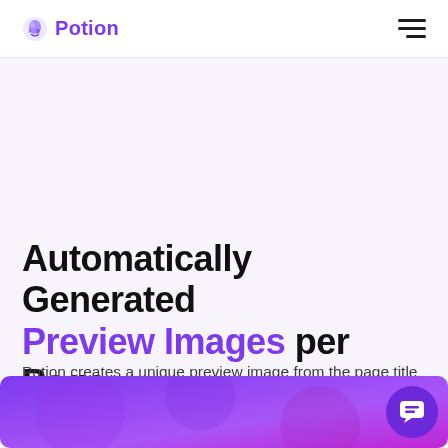Potion
Automatically Generated Preview Images per Page
Potion creates a unique preview image from the page title and cover image.
[Figure (illustration): Purple gradient banner at the bottom of the page with a chat bubble button in the bottom-right corner]